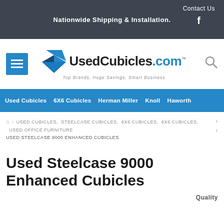Nationwide Shipping & Installation.
[Figure (logo): UsedCubicles.com logo with diamond icon and tagline: Top Brands, Huge Savings, Smart Business]
Used Cubicles  6X6 Cubicles  Herman Miller  Knoll  Haworth
USED CUBICLES,  STEELCASE CUBICLES,  6X6 CUBICLES,  6X6 CUBICLES,  USED OFFICE FURNITURE  > USED STEELCASE 9000 ENHANCED CUBICLES
Used Steelcase 9000 Enhanced Cubicles
Quality